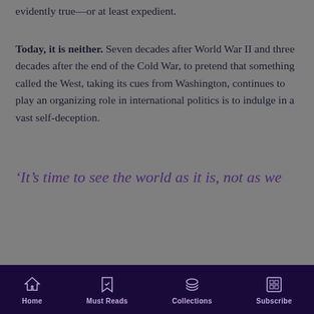evidently true—or at least expedient.
Today, it is neither. Seven decades after World War II and three decades after the end of the Cold War, to pretend that something called the West, taking its cues from Washington, continues to play an organizing role in international politics is to indulge in a vast self-deception.
‘It’s time to see the world as it is, not as we might wish to remember it’
Home  Must Reads  Collections  Subscribe